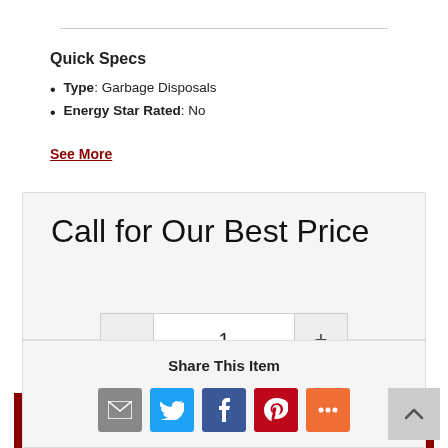Quick Specs
Type: Garbage Disposals
Energy Star Rated: No
See More
Call for Our Best Price
1
Request Quote
Share This Item